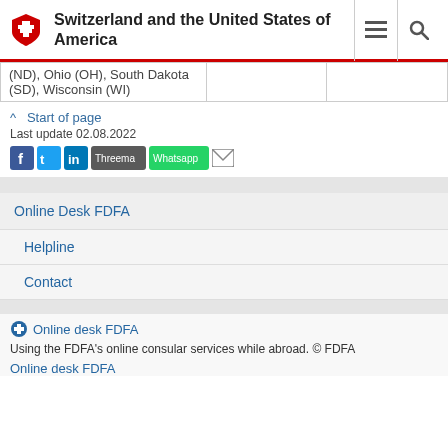Switzerland and the United States of America
| (ND), Ohio (OH), South Dakota (SD), Wisconsin (WI) |  |  |
^ Start of page
Last update 02.08.2022
[Figure (infographic): Social sharing icons: Facebook, Twitter, LinkedIn, Threema, Whatsapp, Email]
Online Desk FDFA
Helpline
Contact
[Figure (logo): Online desk FDFA logo]
Using the FDFA's online consular services while abroad. © FDFA
Online desk FDFA